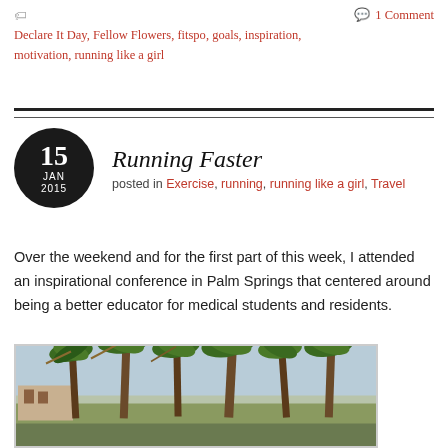🏷 Declare It Day, Fellow Flowers, fitspo, goals, inspiration, motivation, running like a girl
💬 1 Comment
Running Faster
posted in Exercise, running, running like a girl, Travel
Over the weekend and for the first part of this week, I attended an inspirational conference in Palm Springs that centered around being a better educator for medical students and residents.
[Figure (photo): Outdoor photo of tall palm trees with blue sky, buildings visible at lower left, green vegetation at the base]